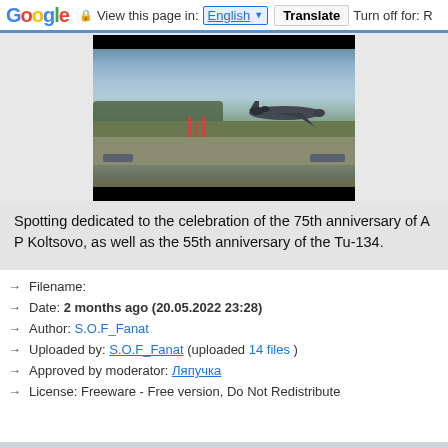Google | View this page in: English | Translate | Turn off for: R
[Figure (photo): Google Translate browser toolbar at top, then a video player showing an aircraft (Tu-134) taking off from an airport runway with trees and other aircraft in background. Video has black bars top and bottom.]
Spotting dedicated to the celebration of the 75th anniversary of A P Koltsovo, as well as the 55th anniversary of the Tu-134.
→  Filename:
→  Date: 2 months ago (20.05.2022 23:28)
→  Author: S.O.F_Fanat
→  Uploaded by: S.O.F_Fanat (uploaded 14 files )
→  Approved by moderator: Ляпучка
→  License: Freeware - Free version, Do Not Redistribute